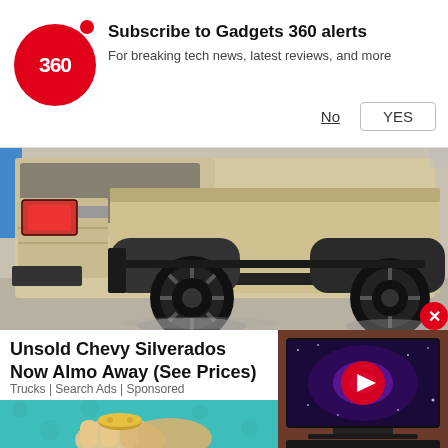[Figure (screenshot): Gadgets 360 notification subscription prompt with red circular logo showing '360', bold text 'Subscribe to Gadgets 360 alerts', subtitle 'For breaking tech news, latest reviews, and more', and buttons 'No' and 'YES']
[Figure (photo): Rear view of a beige/tan Chevy Silverado pickup truck with black wheels and tires on a light indoor surface]
Unsold Chevy Silverados Now Almost Given Away (See Prices)
Trucks | Search Ads | Sponsored
[Figure (screenshot): Video thumbnail showing a large flat-screen TV displaying a purple galaxy image, with a red play button overlay]
[Figure (illustration): Cartoon illustration of hands on a teal/turquoise background, partially visible at bottom]